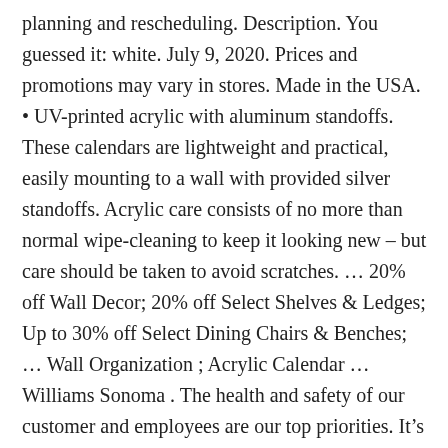planning and rescheduling. Description. You guessed it: white. July 9, 2020. Prices and promotions may vary in stores. Made in the USA. • UV-printed acrylic with aluminum standoffs. These calendars are lightweight and practical, easily mounting to a wall with provided silver standoffs. Acrylic care consists of no more than normal wipe-cleaning to keep it looking new – but care should be taken to avoid scratches. ... 20% off Wall Decor; 20% off Select Shelves & Ledges; Up to 30% off Select Dining Chairs & Benches; ... Wall Organization ; Acrylic Calendar ... Williams Sonoma . The health and safety of our customer and employees are our top priorities. It's loaded with drawers, shelves, dividers and a cabinet door to store all your essentials. By using some painting pens and my free cut file, you can whip one up in no time! Our furniture,